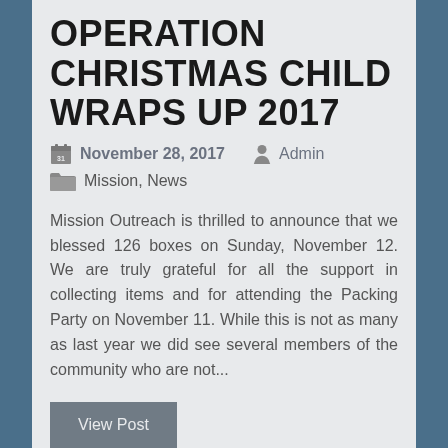OPERATION CHRISTMAS CHILD WRAPS UP 2017
November 28, 2017   Admin
Mission, News
Mission Outreach is thrilled to announce that we blessed 126 boxes on Sunday, November 12. We are truly grateful for all the support in collecting items and for attending the Packing Party on November 11. While this is not as many as last year we did see several members of the community who are not...
View Post